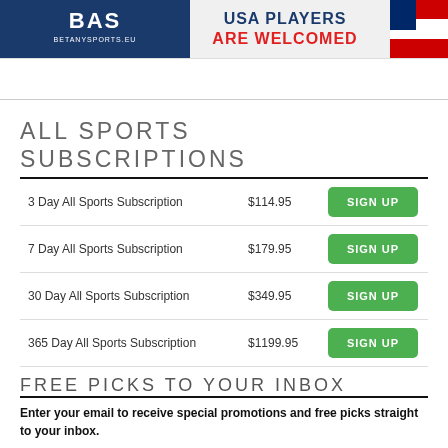[Figure (illustration): BetAnySports.eu banner ad with logo on blue background left, 'USA PLAYERS ARE WELCOMED' text in center, sports imagery on right with American flag motif]
ALL SPORTS SUBSCRIPTIONS
| Plan | Price | Action |
| --- | --- | --- |
| 3 Day All Sports Subscription | $114.95 | SIGN UP |
| 7 Day All Sports Subscription | $179.95 | SIGN UP |
| 30 Day All Sports Subscription | $349.95 | SIGN UP |
| 365 Day All Sports Subscription | $1199.95 | SIGN UP |
FREE PICKS TO YOUR INBOX
Enter your email to receive special promotions and free picks straight to your inbox.